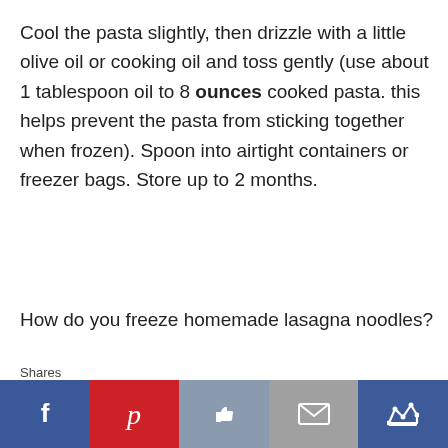Cool the pasta slightly, then drizzle with a little olive oil or cooking oil and toss gently (use about 1 tablespoon oil to 8 ounces cooked pasta. this helps prevent the pasta from sticking together when frozen). Spoon into airtight containers or freezer bags. Store up to 2 months.
How do you freeze homemade lasagna noodles?
To freeze fresh pasta, place the cut pasta on
[Figure (other): Social sharing bar with Facebook, Pinterest, Like, Email, and Crown buttons, with a 'Shares' label on the left]